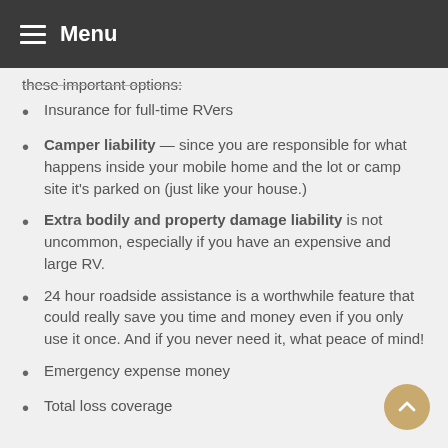Menu
these important options:
Insurance for full-time RVers
Camper liability — since you are responsible for what happens inside your mobile home and the lot or camp site it's parked on (just like your house.)
Extra bodily and property damage liability is not uncommon, especially if you have an expensive and large RV.
24 hour roadside assistance is a worthwhile feature that could really save you time and money even if you only use it once. And if you never need it, what peace of mind!
Emergency expense money
Total loss coverage